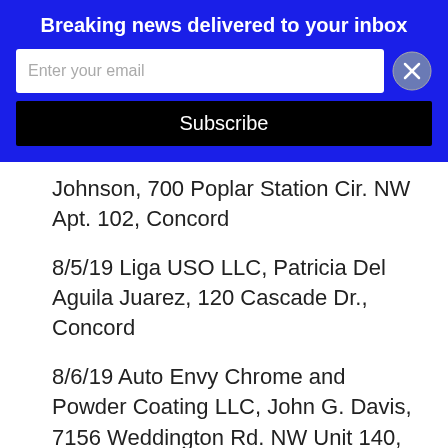Breaking news delivered to your inbox
[Figure (screenshot): Email subscription form with input field and Subscribe button, with a close (X) button]
Johnson, 700 Poplar Station Cir. NW Apt. 102, Concord
8/5/19 Liga USO LLC, Patricia Del Aguila Juarez, 120 Cascade Dr., Concord
8/6/19 Auto Envy Chrome and Powder Coating LLC, John G. Davis, 7156 Weddington Rd. NW Unit 140, Concord